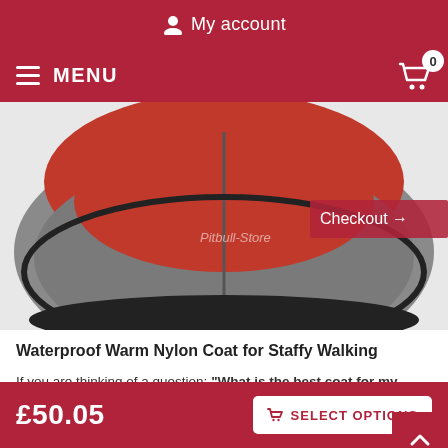My account
MENU  0
[Figure (photo): Red and grey waterproof dog coat/jacket shown from below, with a Checkout → overlay badge on the right side.]
Waterproof Warm Nylon Coat for Staffy Walking
If you are thinking of a question: "What is the best coat for my dog?", read on and find out! This warm dog coat is made of firm and water-resistant nylon with soft fleece padding inside. You can easily fasten this dog coat under the dog's belly and on the neck with Velcro straps. Your Staffy can move freely, play the games and the dog coat won't unfasten
£50.05  SELECT OPTIONS